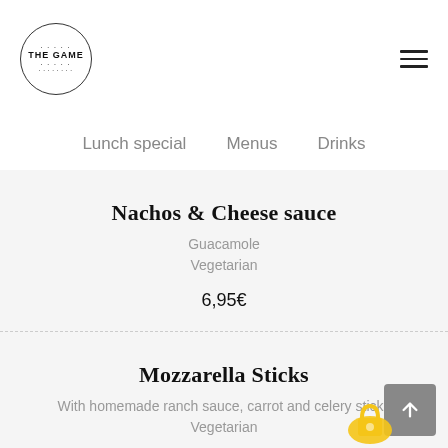[Figure (logo): The Game restaurant circular logo with text]
Lunch special   Menus   Drinks
Nachos & Cheese sauce
Guacamole
Vegetarian
6,95€
Mozzarella Sticks
With homemade ranch sauce, carrot and celery sticks
Vegetarian
7,95€